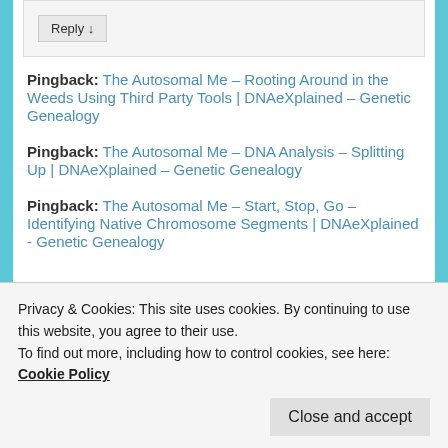Reply ↓
Pingback: The Autosomal Me – Rooting Around in the Weeds Using Third Party Tools | DNAeXplained – Genetic Genealogy
Pingback: The Autosomal Me – DNA Analysis – Splitting Up | DNAeXplained – Genetic Genealogy
Pingback: The Autosomal Me – Start, Stop, Go – Identifying Native Chromosome Segments | DNAeXplained - Genetic Genealogy
Privacy & Cookies: This site uses cookies. By continuing to use this website, you agree to their use. To find out more, including how to control cookies, see here: Cookie Policy
Close and accept
Genetic Genealogy